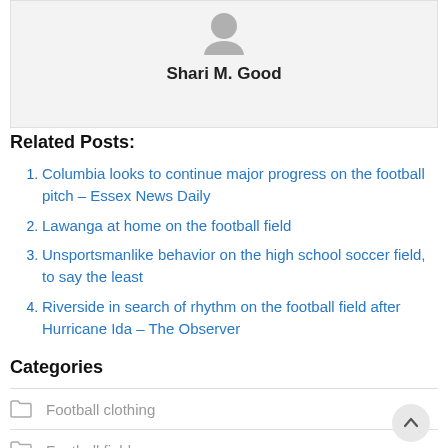[Figure (illustration): Grey avatar/user icon placeholder image]
Shari M. Good
Related Posts:
Columbia looks to continue major progress on the football pitch – Essex News Daily
Lawanga at home on the football field
Unsportsmanlike behavior on the high school soccer field, to say the least
Riverside in search of rhythm on the football field after Hurricane Ida – The Observer
Categories
Football clothing
Football field